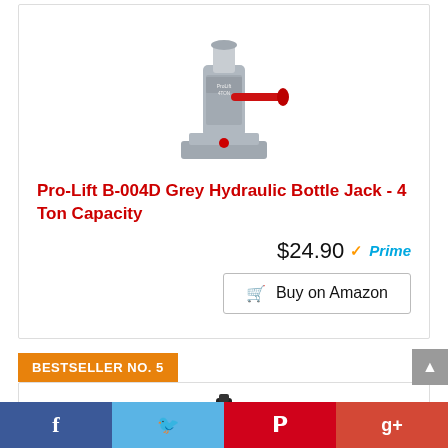[Figure (photo): Pro-Lift B-004D grey hydraulic bottle jack with red handle, product photo on white background]
Pro-Lift B-004D Grey Hydraulic Bottle Jack - 4 Ton Capacity
$24.90 ✓Prime
🛒 Buy on Amazon
BESTSELLER NO. 5
[Figure (photo): Red hydraulic bottle jack product photo, second bestseller item, partially visible]